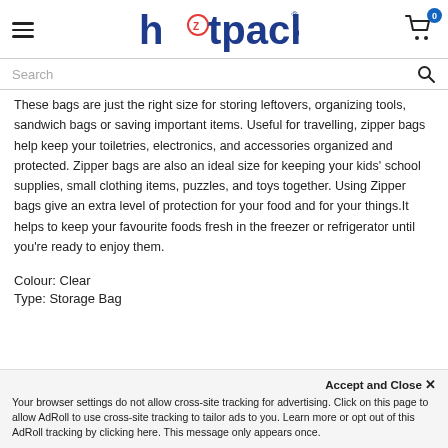hotpack
These bags are just the right size for storing leftovers, organizing tools, sandwich bags or saving important items. Useful for travelling, zipper bags help keep your toiletries, electronics, and accessories organized and protected. Zipper bags are also an ideal size for keeping your kids' school supplies, small clothing items, puzzles, and toys together. Using Zipper bags give an extra level of protection for your food and for your things.It helps to keep your favourite foods fresh in the freezer or refrigerator until you're ready to enjoy them.
Colour: Clear
Type: Storage Bag
Accept and Close ✕
Your browser settings do not allow cross-site tracking for advertising. Click on this page to allow AdRoll to use cross-site tracking to tailor ads to you. Learn more or opt out of this AdRoll tracking by clicking here. This message only appears once.